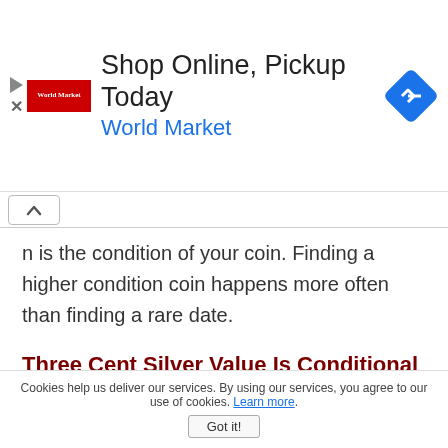[Figure (screenshot): Advertisement banner: World Market logo, 'Shop Online, Pickup Today' headline, blue 'World Market' subtext, and a blue diamond navigation icon on the right.]
is the condition of your coin. Finding a higher condition coin happens more often than finding a rare date.
Three Cent Silver Value Is Conditional
[Figure (photo): Grading Set: Three Cent Silver — four Three Cent Silver coins shown side by side, ranging from higher grade to lower grade, on a light beige background.]
Cookies help us deliver our services. By using our services, you agree to our use of cookies. Learn more. Got it!